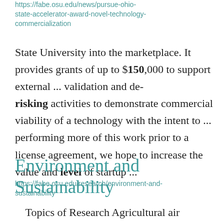https://fabe.osu.edu/news/pursue-ohio-state-accelerator-award-novel-technology-commercialization
State University into the marketplace. It provides grants of up to $150,000 to support external ... validation and de-risking activities to demonstrate commercial viability of a technology with the intent to ... performing more of this work prior to a license agreement, we hope to increase the value and level of startup ...
Environment and Sustainability
https://fabe.osu.edu/research/environment-and-sustainability
Topics of Research Agricultural air emissions Air, soil, and water quality